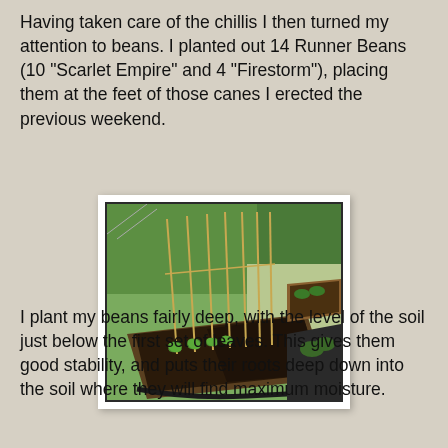Having taken care of the chillis I then turned my attention to beans. I planted out 14 Runner Beans (10 "Scarlet Empire" and 4 "Firestorm"), placing them at the feet of those canes I erected the previous weekend.
[Figure (photo): Photograph of a raised garden bed with bamboo canes arranged in a row, small bean seedlings planted at their bases in dark soil. Other garden beds visible in the background.]
I plant my beans fairly deep, with the level of the soil just below the first set of leaves. This gives them good stability, and puts their roots deep down into the soil where they will find maximum moisture.